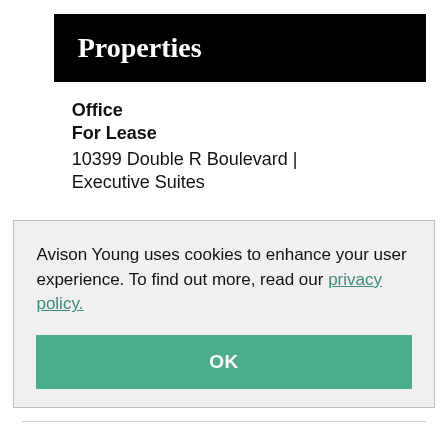Properties
Office
For Lease
10399 Double R Boulevard | Executive Suites
Avison Young uses cookies to enhance your user experience. To find out more, read our privacy policy.
OK
140 Washington Street
Reno, NV 89503